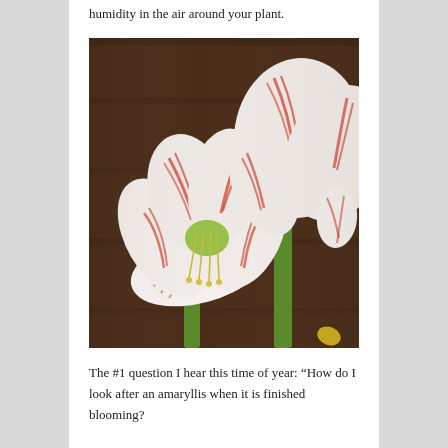humidity in the air around your plant.
[Figure (photo): Close-up photograph of red-and-white striped amaryllis flowers (Hippeastrum) in bloom, showing large open blossoms with distinctive red streaks on white petals and green stems, against a dark brown wooden background.]
The #1 question I hear this time of year: “How do I look after an amaryllis when it is finished blooming?